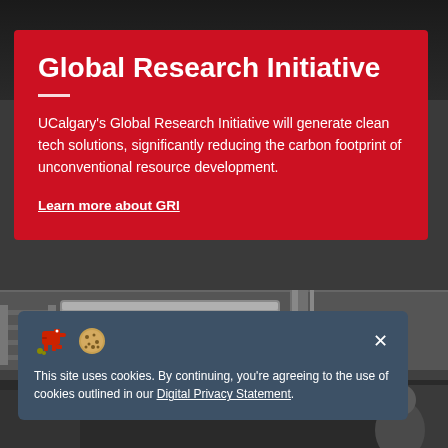[Figure (photo): Industrial/laboratory ceiling with pipes, tubes, and equipment in a research facility]
Global Research Initiative
UCalgary's Global Research Initiative will generate clean tech solutions, significantly reducing the carbon footprint of unconventional resource development.
Learn more about GRI
This site uses cookies. By continuing, you're agreeing to the use of cookies outlined in our Digital Privacy Statement.